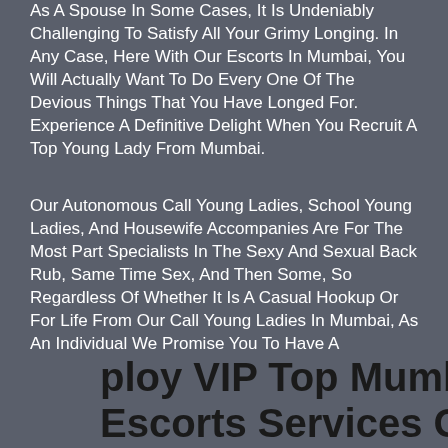As A Spouse In Some Cases, It Is Undeniably Challenging To Satisfy All Your Grimy Longing. In Any Case, Here With Our Escorts In Mumbai, You Will Actually Want To Do Every One Of The Devious Things That You Have Longed For. Experience A Definitive Delight When You Recruit A Top Young Lady From Mumbai.
Our Autonomous Call Young Ladies, School Young Ladies, And Housewife Accompanies Are For The Most Part Specialists In The Sexy And Sexual Back Rub, Same Time Sex, And Then Some, So Regardless Of Whether It Is A Casual Hookup Or For Life From Our Call Young Ladies In Mumbai, As An Individual We Promise You To Have A Phenomenal Involvement In Them.
[Figure (illustration): Green phone call icon (circle with phone handset)]
[Figure (illustration): Green WhatsApp icon (circle with WhatsApp logo)]
ploy VIP Top Mumbai Escorts Services Guaranteed